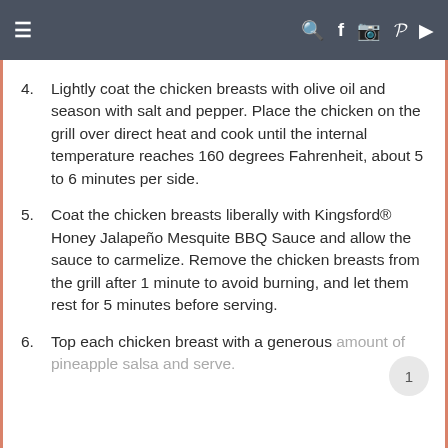≡   🔍 f 📷 p ▶
4. Lightly coat the chicken breasts with olive oil and season with salt and pepper. Place the chicken on the grill over direct heat and cook until the internal temperature reaches 160 degrees Fahrenheit, about 5 to 6 minutes per side.
5. Coat the chicken breasts liberally with Kingsford® Honey Jalapeño Mesquite BBQ Sauce and allow the sauce to carmelize. Remove the chicken breasts from the grill after 1 minute to avoid burning, and let them rest for 5 minutes before serving.
6. Top each chicken breast with a generous amount of pineapple salsa and serve.